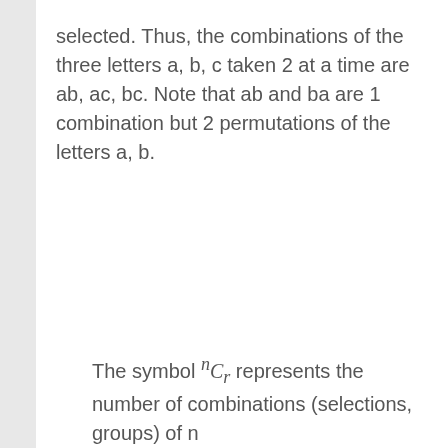selected. Thus, the combinations of the three letters a, b, c taken 2 at a time are ab, ac, bc. Note that ab and ba are 1 combination but 2 permutations of the letters a, b.
The symbol ⁿCᵣ represents the number of combinations (selections, groups) of n